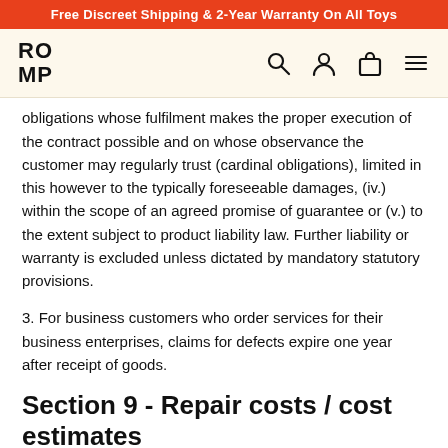Free Discreet Shipping & 2-Year Warranty On All Toys
ROMP
obligations whose fulfilment makes the proper execution of the contract possible and on whose observance the customer may regularly trust (cardinal obligations), limited in this however to the typically foreseeable damages, (iv.) within the scope of an agreed promise of guarantee or (v.) to the extent subject to product liability law. Further liability or warranty is excluded unless dictated by mandatory statutory provisions.
3. For business customers who order services for their business enterprises, claims for defects expire one year after receipt of goods.
Section 9 - Repair costs / cost estimates
If any goods are sent to either WOW Tech Europe GmbH